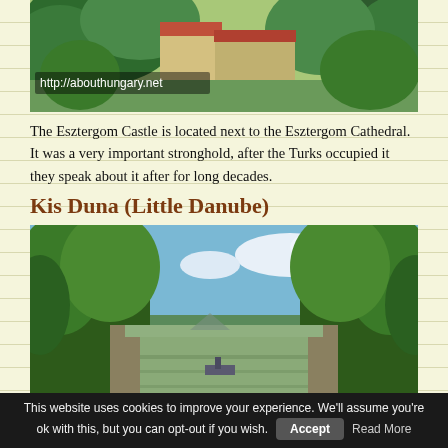[Figure (photo): Photograph of Esztergom Castle area showing buildings with orange-tiled roofs surrounded by dense green trees. A watermark URL 'http://abouthungary.net' is overlaid on the lower-left of the image.]
The Esztergom Castle is located next to the Esztergom Cathedral. It was a very important stronghold, after the Turks occupied it they speak about it after for long decades.
Kis Duna (Little Danube)
[Figure (photo): Photograph of the Kis Duna (Little Danube) channel with calm greenish-brown water flanked by tall green trees on both sides, with blue sky and clouds visible above and a boat visible in the distance.]
This website uses cookies to improve your experience. We'll assume you're ok with this, but you can opt-out if you wish. Accept Read More